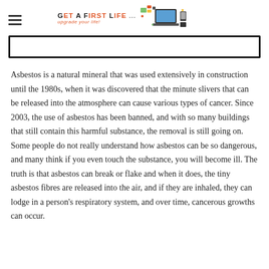Get A First Life — upgrade your life!
[Figure (other): Black bordered rectangle/frame at top of content area, appears to be a partially visible image or video frame with thick black border]
Asbestos is a natural mineral that was used extensively in construction until the 1980s, when it was discovered that the minute slivers that can be released into the atmosphere can cause various types of cancer. Since 2003, the use of asbestos has been banned, and with so many buildings that still contain this harmful substance, the removal is still going on. Some people do not really understand how asbestos can be so dangerous, and many think if you even touch the substance, you will become ill. The truth is that asbestos can break or flake and when it does, the tiny asbestos fibres are released into the air, and if they are inhaled, they can lodge in a person's respiratory system, and over time, cancerous growths can occur.